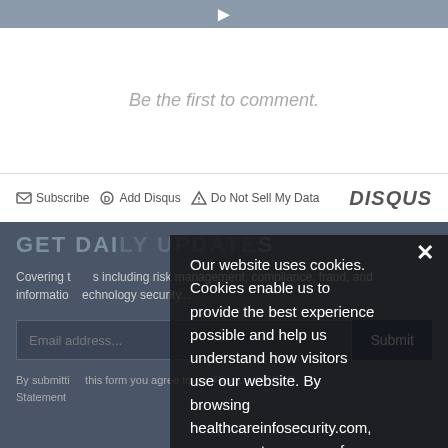[Figure (screenshot): Dark gray top bar with a white right-arrow icon]
Be the first to comment.
Subscribe  Add Disqus  Do Not Sell My Data   DISQUS
GET DAILY...
Covering topics including risk management, compliance, fraud, and information technology security...
Email address...  Submit
By submitting this form you agree to our Privacy & GDPR Statement...
Our website uses cookies. Cookies enable us to provide the best experience possible and help us understand how visitors use our website. By browsing healthcareinfosecurity.com, you agree to our use of cookies.